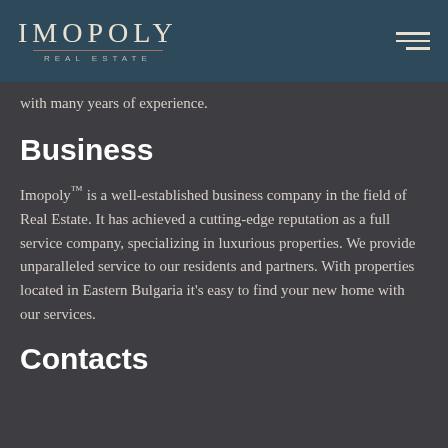IMOPOLY REAL ESTATE
with many years of experience.
Business
Imopoly™ is a well-established business company in the field of Real Estate. It has achieved a cutting-edge reputation as a full service company, specializing in luxurious properties. We provide unparalleled service to our residents and partners. With properties located in Eastern Bulgaria it's easy to find your new home with our services.
Contacts